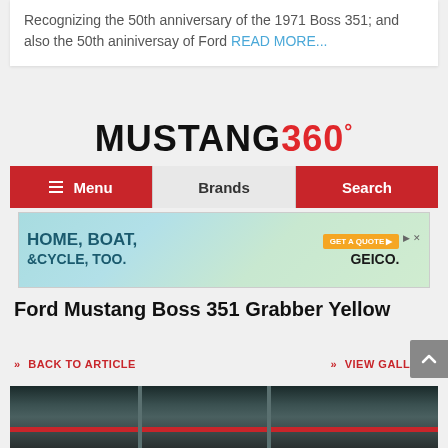Recognizing the 50th anniversary of the 1971 Boss 351; and also the 50th aniniversay of Ford READ MORE...
[Figure (logo): Mustang 360 logo in bold black and red text]
[Figure (infographic): Navigation bar with Menu, Brands, Search tabs in red and gray]
[Figure (infographic): GEICO advertisement banner: HOME, BOAT, & CYCLE, TOO. GET A QUOTE button and GEICO logo]
Ford Mustang Boss 351 Grabber Yellow
» BACK TO ARTICLE    » VIEW GALLERY
[Figure (photo): Partial view of a warehouse or garage interior with teal walls, ceiling structure, and a red horizontal stripe]